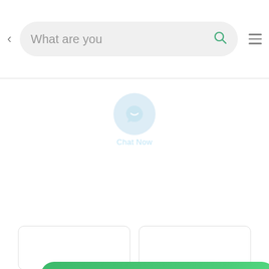[Figure (screenshot): Mobile app search bar with back arrow, placeholder text 'What are you', search icon, and hamburger menu icon on white background]
Vitamin C Tabl...  (19)
[Figure (screenshot): Two empty white product cards with rounded borders at the bottom of the screen]